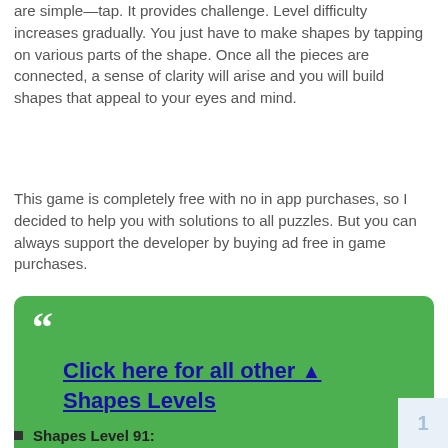are simple—tap. It provides challenge. Level difficulty increases gradually. You just have to make shapes by tapping on various parts of the shape. Once all the pieces are connected, a sense of clarity will arise and you will build shapes that appeal to your eyes and mind.
This game is completely free with no in app purchases, so I decided to help you with solutions to all puzzles. But you can always support the developer by buying ad free in game purchases.
Click here for all other ▲ Shapes Levels
Shapes Level 91: